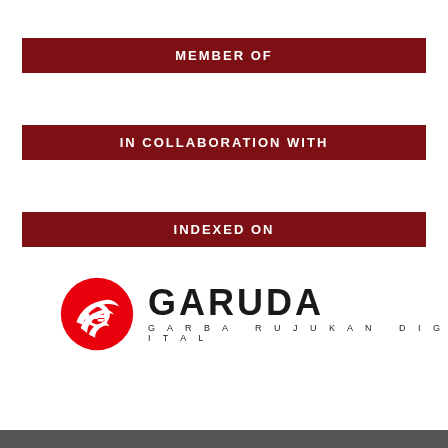MEMBER OF
IN COLLABORATION WITH
INDEXED ON
[Figure (logo): GARUDA (Garba Rujukan Digital) logo with red eagle/bird icon and black bold text]